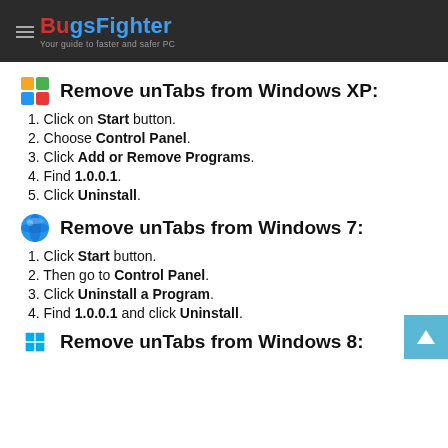BugsFighter — Your guide to faster and safer PC
Remove unTabs from Windows XP:
1. Click on Start button.
2. Choose Control Panel.
3. Click Add or Remove Programs.
4. Find 1.0.0.1.
5. Click Uninstall.
Remove unTabs from Windows 7:
1. Click Start button.
2. Then go to Control Panel.
3. Click Uninstall a Program.
4. Find 1.0.0.1 and click Uninstall.
Remove unTabs from Windows 8: